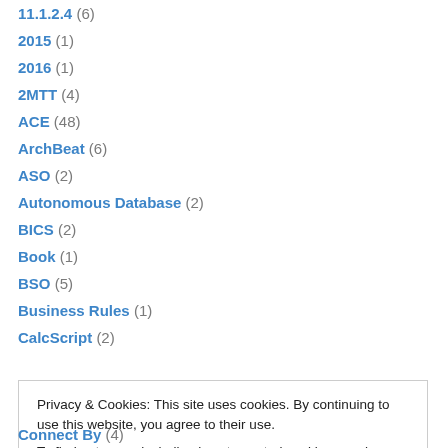11.1.2.4 (6)
2015 (1)
2016 (1)
2MTT (4)
ACE (48)
ArchBeat (6)
ASO (2)
Autonomous Database (2)
BICS (2)
Book (1)
BSO (5)
Business Rules (1)
CalcScript (2)
Privacy & Cookies: This site uses cookies. By continuing to use this website, you agree to their use. To find out more, including how to control cookies, see here: Cookie Policy
Connect By (4)